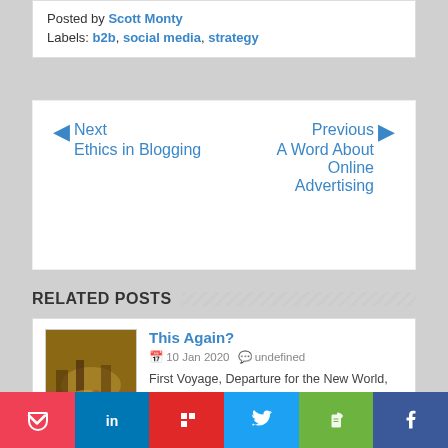Posted by Scott Monty
Labels: b2b, social media, strategy
Next Ethics in Blogging | Previous A Word About Online Advertising
RELATED POSTS
This Again?
10 Jan 2020 undefined
First Voyage, Departure for the New World, August 3, 1492 by L. Prang & Co., 1893 (public d...Read more »
Five Skills That Young Marketers and